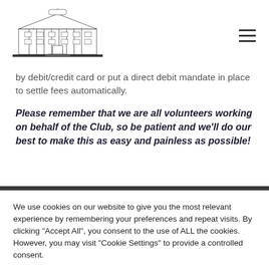[Figure (illustration): Line drawing of a large classical/neoclassical club building with columns and multiple windows]
by debit/credit card or put a direct debit mandate in place to settle fees automatically.
Please remember that we are all volunteers working on behalf of the Club, so be patient and we'll do our best to make this as easy and painless as possible!
We use cookies on our website to give you the most relevant experience by remembering your preferences and repeat visits. By clicking "Accept All", you consent to the use of ALL the cookies. However, you may visit "Cookie Settings" to provide a controlled consent.